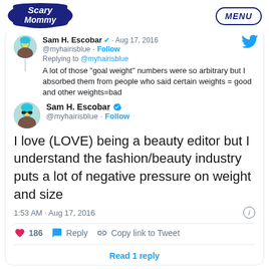[Figure (logo): Scary Mommy logo in dark navy blue]
MENU
Sam H. Escobar · Aug 17, 2016
@myhairisblue · Follow
Replying to @myhairisblue
A lot of those "goal weight" numbers were so arbitrary but I absorbed them from people who said certain weights = good and other weights=bad
Sam H. Escobar
@myhairisblue · Follow
I love (LOVE) being a beauty editor but I understand the fashion/beauty industry puts a lot of negative pressure on weight and size
1:53 AM · Aug 17, 2016
186  Reply  Copy link to Tweet
Read 1 reply